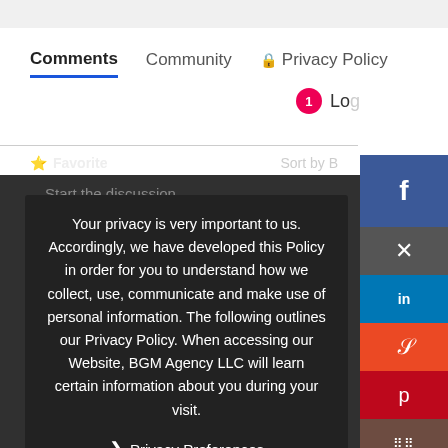Comments   Community   Privacy Policy
1  Log
Favorite   Sort by B
Start the discussion
LOG IN
OR SIGN UP
Name
Your privacy is very important to us. Accordingly, we have developed this Policy in order for you to understand how we collect, use, communicate and make use of personal information. The following outlines our Privacy Policy. When accessing our Website, BGM Agency LLC will learn certain information about you during your visit.
❯ Privacy Preferences
I Agree
Be the first to comment